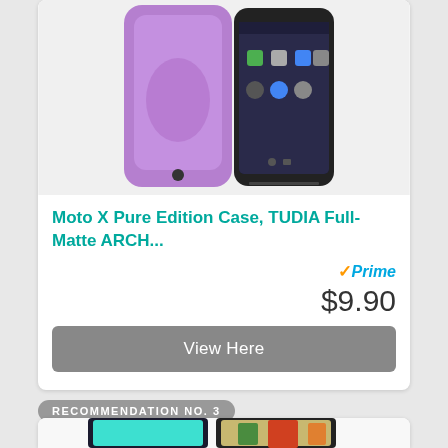[Figure (photo): Product photo of a purple TUDIA phone case on a smartphone with Android home screen visible]
Moto X Pure Edition Case, TUDIA Full-Matte ARCH...
Prime
$9.90
View Here
RECOMMENDATION NO. 3
[Figure (photo): Two smartphones side by side - one showing the phone screen with teal blue display, and one with a nature/autumn trees phone case]